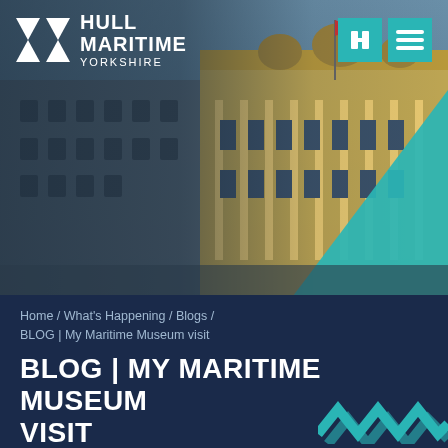[Figure (photo): Hero photo of a grand Victorian stone building (Hull Maritime Museum) with ornate architecture, columns and domes, photographed against a blue sky. A teal geometric triangle overlay appears in the bottom right of the image.]
HULL MARITIME YORKSHIRE
Home / What's Happening / Blogs / BLOG | My Maritime Museum visit
BLOG | MY MARITIME MUSEUM VISIT